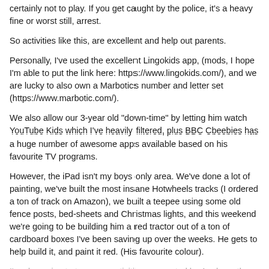certainly not to play. If you get caught by the police, it's a heavy fine or worst still, arrest.
So activities like this, are excellent and help out parents.
Personally, I've used the excellent Lingokids app, (mods, I hope I'm able to put the link here: https://www.lingokids.com/), and we are lucky to also own a Marbotics number and letter set (https://www.marbotic.com/).
We also allow our 3-year old "down-time" by letting him watch YouTube Kids which I've heavily filtered, plus BBC Cbeebies has a huge number of awesome apps available based on his favourite TV programs.
However, the iPad isn't my boys only area. We've done a lot of painting, we've built the most insane Hotwheels tracks (I ordered a ton of track on Amazon), we built a teepee using some old fence posts, bed-sheets and Christmas lights, and this weekend we're going to be building him a red tractor out of a ton of cardboard boxes I've been saving up over the weeks. He gets to help build it, and paint it red. (His favourite colour).
I'm also going to try some activities suggested by Apple as they look pretty fun and cool to do.